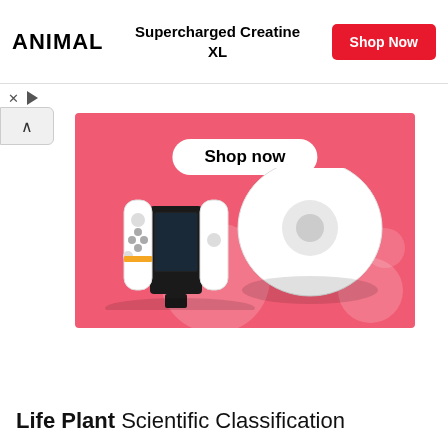[Figure (screenshot): Advertisement banner for ANIMAL brand showing 'Supercharged Creatine XL' with a red 'Shop Now' button]
[Figure (screenshot): Pink promotional advertisement with 'Shop now' button showing a robot vacuum cleaner and Nintendo Switch gaming console]
Life Plant Scientific Classification